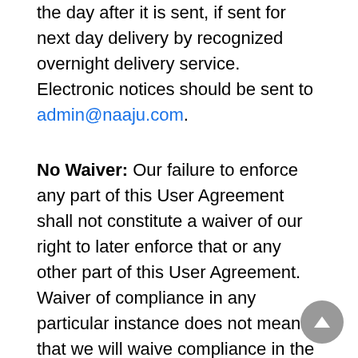the day after it is sent, if sent for next day delivery by recognized overnight delivery service. Electronic notices should be sent to admin@naaju.com.
No Waiver: Our failure to enforce any part of this User Agreement shall not constitute a waiver of our right to later enforce that or any other part of this User Agreement. Waiver of compliance in any particular instance does not mean that we will waive compliance in the future. In order for any waiver of compliance with this User Agreement to be binding, we must provide you with written notice of such waiver through one of our authorized representatives.